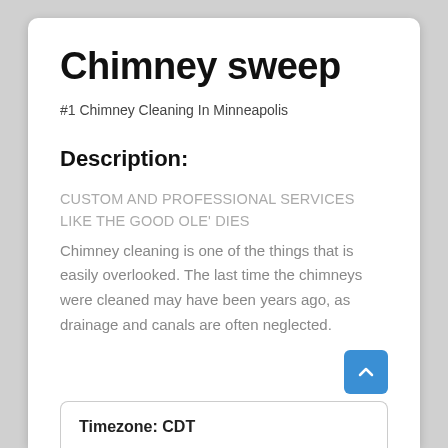Chimney sweep
#1 Chimney Cleaning In Minneapolis
Description:
CUSTOM AND PROFESSIONAL SERVICES LIKE THE GOOD OLE' DIES
Chimney cleaning is one of the things that is easily overlooked. The last time the chimneys were cleaned may have been years ago, as drainage and canals are often neglected.
Timezone: CDT